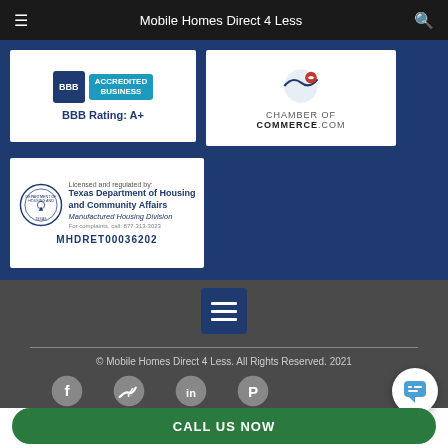Mobile Homes Direct 4 Less
[Figure (logo): BBB Accredited Business badge with BBB Rating: A+]
[Figure (logo): Chamber of Commerce.com badge with phone icon]
[Figure (logo): Texas Department of Housing and Community Affairs - Manufactured Housing Division license badge, MHDRET00036202]
[Figure (other): Hamburger menu button icon]
© Mobile Homes Direct 4 Less. All Rights Reserved. 2021
[Figure (other): Social media icons: Facebook, Twitter, LinkedIn, Pinterest]
CALL US NOW